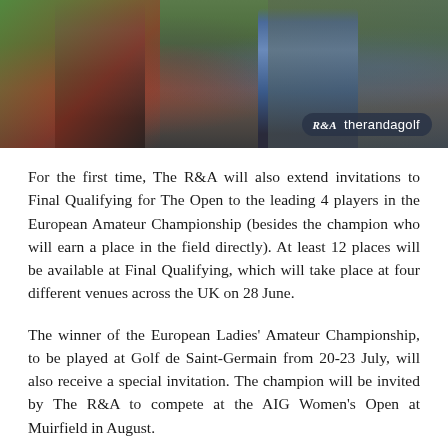[Figure (photo): Photo of people at a golf event with R&A therandagolf watermark overlay in bottom right corner]
For the first time, The R&A will also extend invitations to Final Qualifying for The Open to the leading 4 players in the European Amateur Championship (besides the champion who will earn a place in the field directly). At least 12 places will be available at Final Qualifying, which will take place at four different venues across the UK on 28 June.
The winner of the European Ladies' Amateur Championship, to be played at Golf de Saint-Germain from 20-23 July, will also receive a special invitation. The champion will be invited by The R&A to compete at the AIG Women's Open at Muirfield in August.
Now this year, The R&A will also extend invitations to the